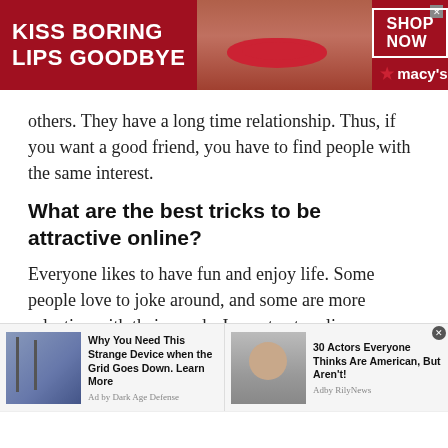[Figure (screenshot): Advertisement banner for Macy's with red background, model face, 'KISS BORING LIPS GOODBYE' text, 'SHOP NOW' button, and Macy's star logo]
others. They have a long time relationship. Thus, if you want a good friend, you have to find people with the same interest.
What are the best tricks to be attractive online?
Everyone likes to have fun and enjoy life. Some people love to joke around, and some are more selective with their words. In contrast, online, one needs to understand the other person's attitude. You have to decide whether that person is interested in making fun or not
[Figure (screenshot): Bottom advertisement bar with two ad items: 'Why You Need This Strange Device when the Grid Goes Down. Learn More' by Dark Age Defense, and '30 Actors Everyone Thinks Are American, But Aren't!' by Rily News]